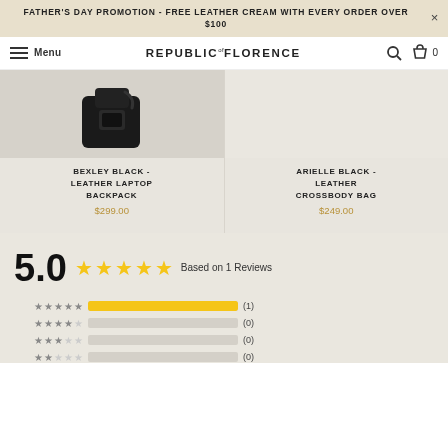FATHER'S DAY PROMOTION - FREE LEATHER CREAM WITH EVERY ORDER OVER $100
Menu  REPUBLIC of FLORENCE  [search] [bag] 0
[Figure (photo): Black leather laptop backpack product photo on light gray background]
BEXLEY BLACK - LEATHER LAPTOP BACKPACK
$299.00
[Figure (photo): Arielle black leather crossbody bag product area (right column, mostly off-screen)]
ARIELLE BLACK - LEATHER CROSSBODY BAG
$249.00
5.0 ★★★★★ Based on 1 Reviews
★★★★★ [full bar] (1)
★★★★☆ [empty bar] (0)
★★★☆☆ [empty bar] (0)
★★☆☆☆ [partial visible] (0)